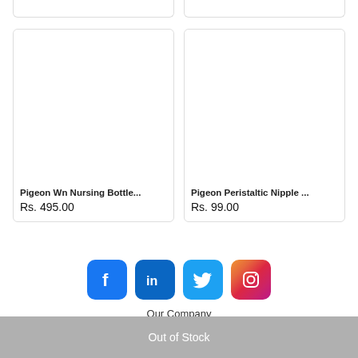[Figure (other): Partial product card tops from previous row]
[Figure (other): Product card: Pigeon Wn Nursing Bottle... Rs. 495.00]
Pigeon Wn Nursing Bottle...
Rs. 495.00
[Figure (other): Product card: Pigeon Peristaltic Nipple ... Rs. 99.00]
Pigeon Peristaltic Nipple ...
Rs. 99.00
[Figure (other): Social media icons: Facebook, LinkedIn, Twitter, Instagram]
Our Company
Out of Stock